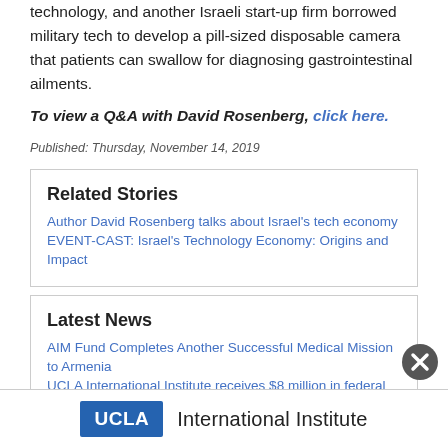technology, and another Israeli start-up firm borrowed military tech to develop a pill-sized disposable camera that patients can swallow for diagnosing gastrointestinal ailments.
To view a Q&A with David Rosenberg, click here.
Published: Thursday, November 14, 2019
Related Stories
Author David Rosenberg talks about Israel's tech economy
EVENT-CAST: Israel's Technology Economy: Origins and Impact
Latest News
AIM Fund Completes Another Successful Medical Mission to Armenia
UCLA International Institute receives $8 million in federal funding
[Figure (logo): UCLA International Institute footer logo with blue UCLA badge and text 'International Institute']